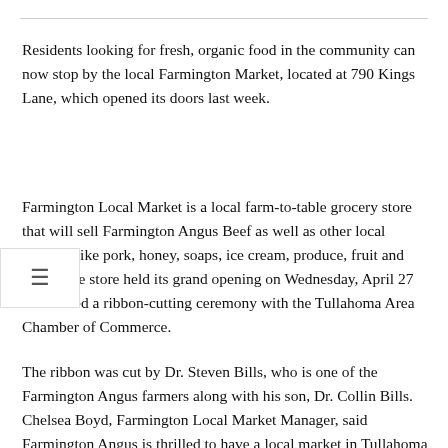Residents looking for fresh, organic food in the community can now stop by the local Farmington Market, located at 790 Kings Lane, which opened its doors last week.
Farmington Local Market is a local farm-to-table grocery store that will sell Farmington Angus Beef as well as other local produce like pork, honey, soaps, ice cream, produce, fruit and more. The store held its grand opening on Wednesday, April 27 and hosted a ribbon-cutting ceremony with the Tullahoma Area Chamber of Commerce.
The ribbon was cut by Dr. Steven Bills, who is one of the Farmington Angus farmers along with his son, Dr. Collin Bills.
Chelsea Boyd, Farmington Local Market Manager, said Farmington Angus is thrilled to have a local market in Tullahoma so they can not only supply their produce to the masses, but also encourage residents to buy local produce locally. farm to table other local